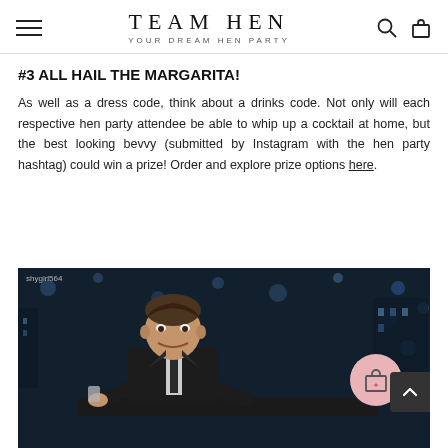TEAM HEN — YOUR DREAM HEN PARTY
#3 ALL HAIL THE MARGARITA!
As well as a dress code, think about a drinks code. Not only will each respective hen party attendee be able to whip up a cocktail at home, but the best looking bevvy (submitted by Instagram with the hen party hashtag) could win a prize! Order and explore prize options here.
[Figure (photo): A man sitting at a talk show desk, smiling, with a blurred city lights background. Watermark reads 'shygirl564'.]